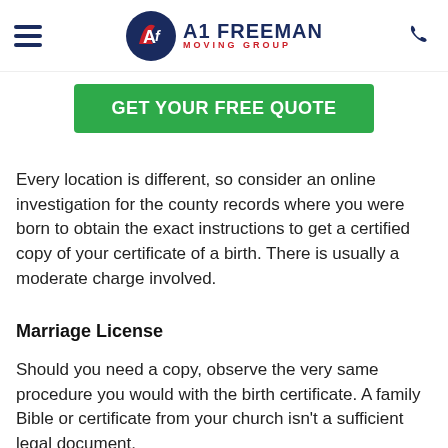A1 Freeman Moving Group
[Figure (logo): A1 Freeman Moving Group logo with circular AF emblem in navy and red, company name in bold navy and red text]
GET YOUR FREE QUOTE
Every location is different, so consider an online investigation for the county records where you were born to obtain the exact instructions to get a certified copy of your certificate of a birth. There is usually a moderate charge involved.
Marriage License
Should you need a copy, observe the very same procedure you would with the birth certificate. A family Bible or certificate from your church isn't a sufficient legal document.